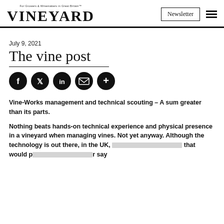VINEYARD — Newsletter
July 9, 2021
The vine post
[Figure (other): Social share icons: Facebook, Twitter, LinkedIn, Email, More (+)]
Vine-Works management and technical scouting – A sum greater than its parts.
Nothing beats hands-on technical experience and physical presence in a vineyard when managing vines. Not yet anyway. Although the technology is out there, in the UK, [redacted] that would [redacted] r say